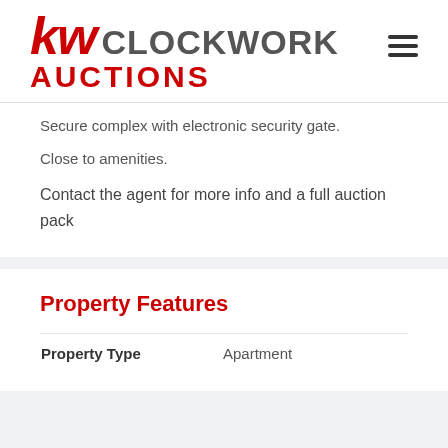[Figure (logo): KW Clockwork Auctions logo — 'kw' in red italic, 'CLOCKWORK' in dark grey, 'AUCTIONS' in red below]
Secure complex with electronic security gate.
Close to amenities.
Contact the agent for more info and a full auction pack
Property Features
| Property Type |  |
| --- | --- |
| Property Type | Apartment |